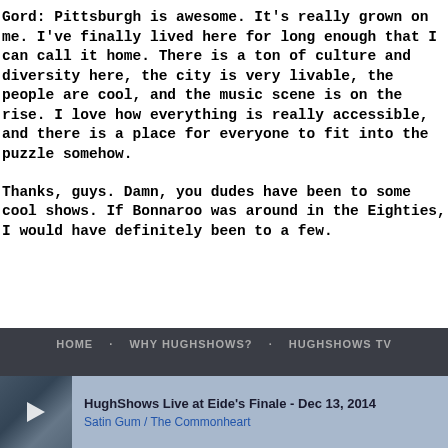Gord: Pittsburgh is awesome. It's really grown on me. I've finally lived here for long enough that I can call it home. There is a ton of culture and diversity here, the city is very livable, the people are cool, and the music scene is on the rise. I love how everything is really accessible, and there is a place for everyone to fit into the puzzle somehow.
Thanks, guys. Damn, you dudes have been to some cool shows. If Bonnaroo was around in the Eighties, I would have definitely been to a few.
HOME   WHY HUGHSHOWS?   HUGHSHOWS TV
HughShows Live at Eide's Finale - Dec 13, 2014
Satin Gum / The Commonheart